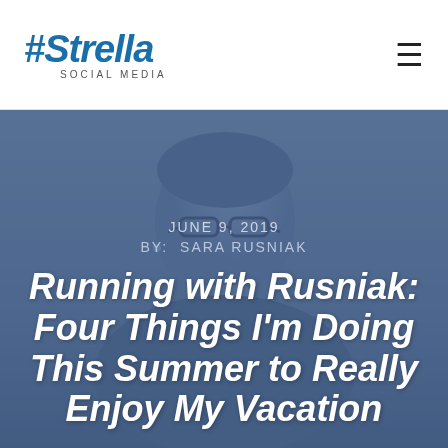#Strella SOCIAL MEDIA
[Figure (photo): Background photo of a person wearing glasses, overlaid with a blue semi-transparent tint. Hero image for blog post.]
JUNE 9, 2019
BY:  SARA RUSNIAK
Running with Rusniak: Four Things I'm Doing This Summer to Really Enjoy My Vacation